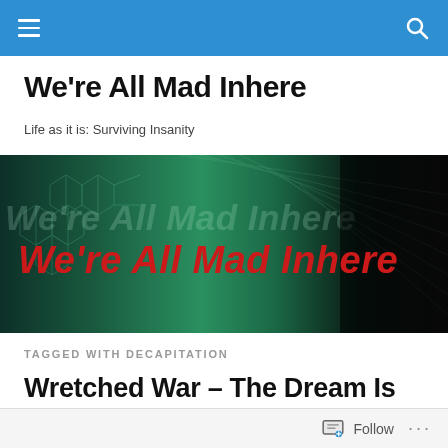Navigation bar with menu and search icons
We're All Mad Inhere
Life as it is: Surviving Insanity
[Figure (illustration): Blog banner image with teal/dark background, chemistry hexagon patterns, and the text 'We're All Mad Inhere' in red italic bold font overlaid, with a lighter ghost version of the same text behind it.]
TAGGED WITH DECAPITATION
Wretched War – The Dream Is Dead
Follow ...